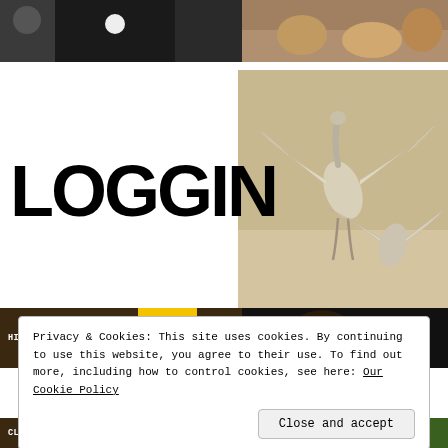[Figure (photo): Top strip: left side dark/black photo (people silhouettes), right side colorful outdoor photo]
LOGGIN
[Figure (photo): Photo of birds (egrets/herons) in flight with spread wings on sandy background]
[Figure (screenshot): Bottom strip partial: left shows HISTORIANS, UNDECIDED, THE ARTS category labels on dark/yellow background; right shows close-up face photo on dark background]
Privacy & Cookies: This site uses cookies. By continuing to use this website, you agree to their use. To find out more, including how to control cookies, see here: Our Cookie Policy
Close and accept
[Figure (screenshot): Very bottom strip: CLERGY, TEACHERS, THE VILLAGE labels on dark/yellow background; right green leaf photo]